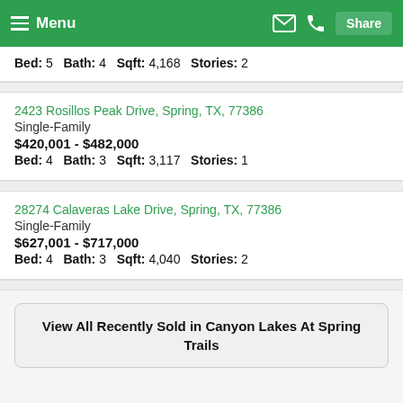Menu | Share
Bed: 5  Bath: 4  Sqft: 4,168  Stories: 2
2423 Rosillos Peak Drive, Spring, TX, 77386
Single-Family
$420,001 - $482,000
Bed: 4  Bath: 3  Sqft: 3,117  Stories: 1
28274 Calaveras Lake Drive, Spring, TX, 77386
Single-Family
$627,001 - $717,000
Bed: 4  Bath: 3  Sqft: 4,040  Stories: 2
View All Recently Sold in Canyon Lakes At Spring Trails